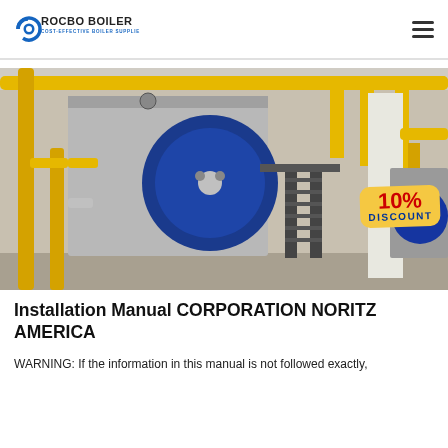ROCBO BOILER — COST-EFFECTIVE BOILER SUPPLIER
[Figure (photo): Industrial boiler room with large blue cylindrical boiler, yellow gas pipes, metal staircases, and a 10% DISCOUNT badge overlay in the lower-right of the image.]
Installation Manual CORPORATION NORITZ AMERICA
WARNING: If the information in this manual is not followed exactly,